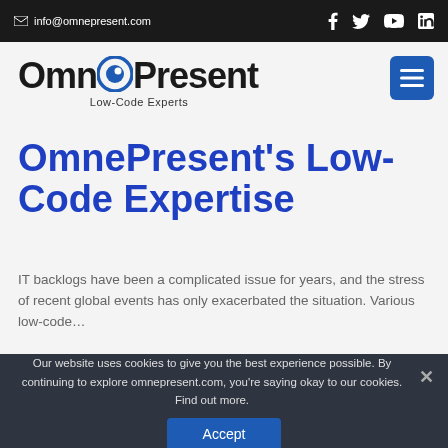info@omnepresent.com
[Figure (logo): OmnePresent logo with circular blue eye icon and tagline 'Low-Code Experts']
OmnePresent's Low-Code Expertise
IT backlogs have been a complicated issue for years, and the stress of recent global events has only exacerbated the situation. Various low-code…
Our website uses cookies to give you the best experience possible. By continuing to explore omnepresent.com, you're saying okay to our cookies. Find out more.